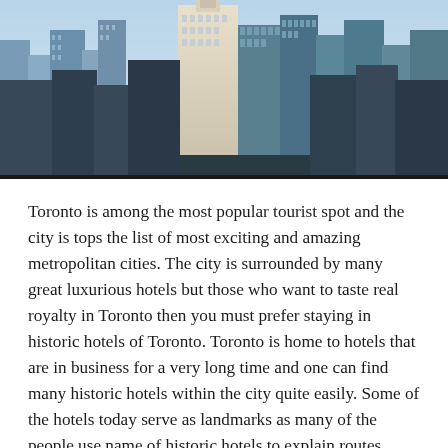[Figure (photo): Aerial/street-level view of Toronto city skyline showing tall glass and stone skyscrapers with a prominent white tower in the center against a blue sky]
Toronto is among the most popular tourist spot and the city is tops the list of most exciting and amazing metropolitan cities. The city is surrounded by many great luxurious hotels but those who want to taste real royalty in Toronto then you must prefer staying in historic hotels of Toronto. Toronto is home to hotels that are in business for a very long time and one can find many historic hotels within the city quite easily. Some of the hotels today serve as landmarks as many of the people use name of historic hotels to explain routes. Below is the list of historic hotels and hostels located in Toronto.